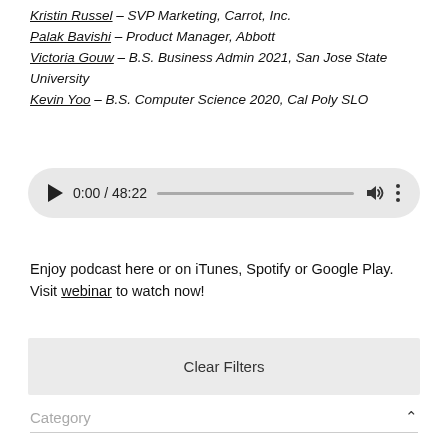Kristin Russel – SVP Marketing, Carrot, Inc.
Palak Bavishi – Product Manager, Abbott
Victoria Gouw – B.S. Business Admin 2021, San Jose State University
Kevin Yoo – B.S. Computer Science 2020, Cal Poly SLO
[Figure (other): Audio player widget showing 0:00 / 48:22 with play button, progress bar, volume icon, and more options icon]
Enjoy podcast here or on iTunes, Spotify or Google Play. Visit webinar to watch now!
Clear Filters
Category